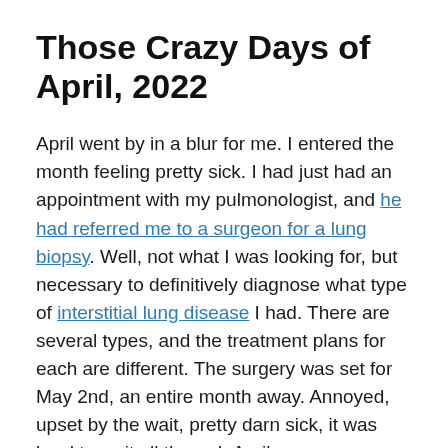Those Crazy Days of April, 2022
April went by in a blur for me. I entered the month feeling pretty sick. I had just had an appointment with my pulmonologist, and he had referred me to a surgeon for a lung biopsy. Well, not what I was looking for, but necessary to definitively diagnose what type of interstitial lung disease I had. There are several types, and the treatment plans for each are different. The surgery was set for May 2nd, an entire month away. Annoyed, upset by the wait, pretty darn sick, it was hard to wait all through April.